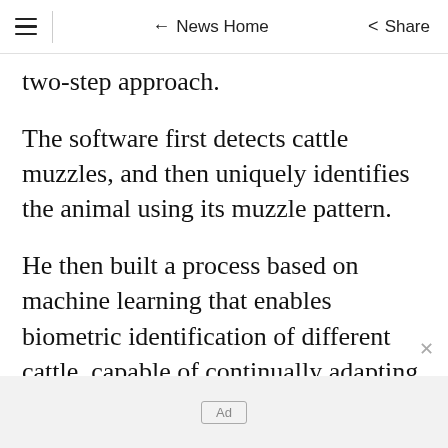≡  ← News Home  Share
two-step approach.
The software first detects cattle muzzles, and then uniquely identifies the animal using its muzzle pattern.
He then built a process based on machine learning that enables biometric identification of different cattle, capable of continually adapting and as new cattle are entered onto the database.